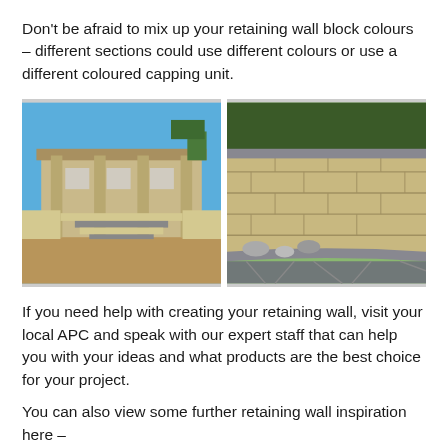Don't be afraid to mix up your retaining wall block colours – different sections could use different colours or use a different coloured capping unit.
[Figure (photo): Two side-by-side photographs of retaining walls. Left photo shows a house facade with a retaining wall and steps with contrasting dark and light block colours in a front yard with gravel. Right photo shows a close-up of a light sandstone-coloured retaining wall with a grey capping unit, with rocks at its base and a flagstone path in the foreground.]
If you need help with creating your retaining wall, visit your local APC and speak with our expert staff that can help you with your ideas and what products are the best choice for your project.
You can also view some further retaining wall inspiration here –